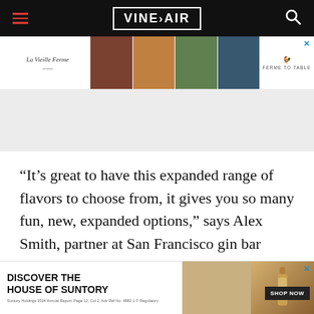VinePair
[Figure (photo): La Vieille Ferme advertisement banner with food and wine images and 'Ferme to Table' tagline]
[Figure (photo): Gray placeholder/advertisement area]
“It’s great to have this expanded range of flavors to choose from, it gives you so many fun, new, expanded options,” says Alex Smith, partner at San Francisco gin bar Whitechapel. But with that choice come important considerations. That stone fruit- ... red
[Figure (photo): Discover the House of Suntory advertisement banner with whisky bottle image and Shop Now button]